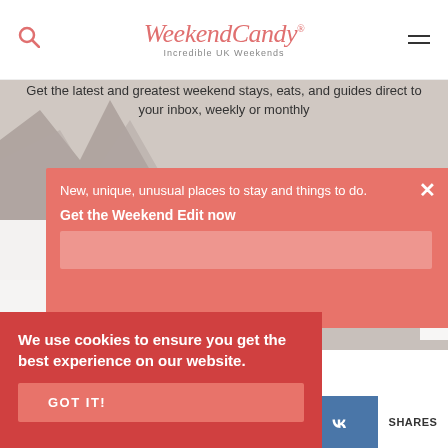WeekendCandy — Incredible UK Weekends
Weekend Mini
Get the latest and greatest weekend stays, eats, and guides direct to your inbox, weekly or monthly
New, unique, unusual places to stay and things to do.
Get the Weekend Edit now
We use cookies to ensure you get the best experience on our website.
GOT IT!